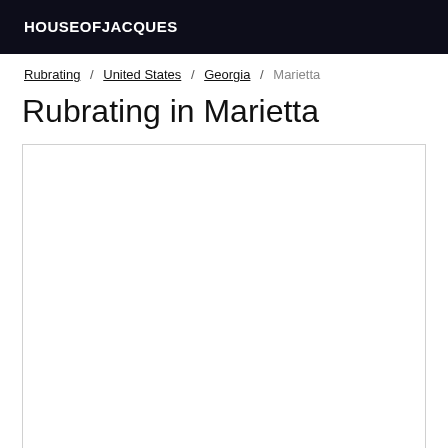HOUSEOFJACQUES
Rubrating / United States / Georgia / Marietta
Rubrating in Marietta
[Figure (other): Empty white content box with border]